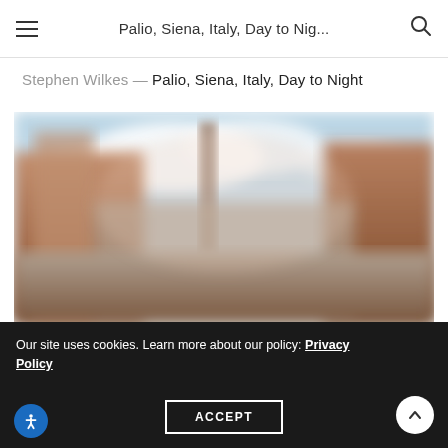Palio, Siena, Italy, Day to Nig...
Stephen Wilkes — Palio, Siena, Italy, Day to Night
[Figure (photo): Blurred/soft-focus panoramic photograph of Piazza del Campo in Siena, Italy, showing the historic square with surrounding medieval brick buildings, a tall tower, and a crowd gathered for the Palio horse race, with a blue sky and white clouds above.]
Our site uses cookies. Learn more about our policy: Privacy Policy
ACCEPT